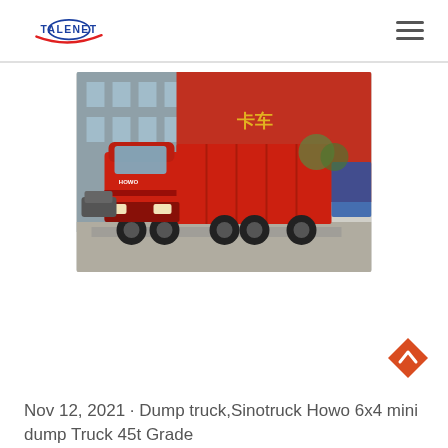TALENET
[Figure (photo): A red Sinotruck Howo dump truck parked in front of a building with other trucks visible in the background.]
Nov 12, 2021 · Dump truck,Sinotruck Howo 6x4 mini dump Truck 45t Grade